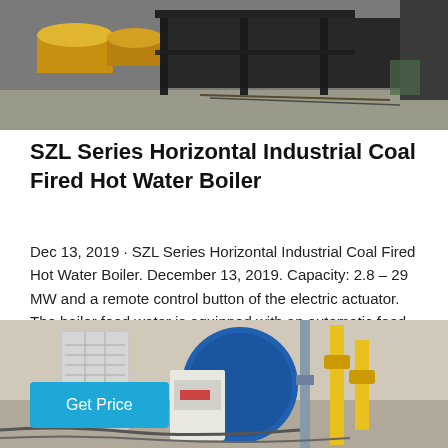[Figure (photo): Industrial coal fired boiler equipment in a workshop/factory setting. Yellow cylindrical tanks visible on left, black metal framework, concrete floor.]
SZL Series Horizontal Industrial Coal Fired Hot Water Boiler
Dec 13, 2019 · SZL Series Horizontal Industrial Coal Fired Hot Water Boiler. December 13, 2019. Capacity: 2.8 – 29 MW and a remote control button of the electric actuator. The boiler feed water is equipped with an automatic feed…
[Figure (photo): Industrial boiler equipment with blue circular drum, yellow gas pipes, valves, and control panel visible. Factory/workshop interior background.]